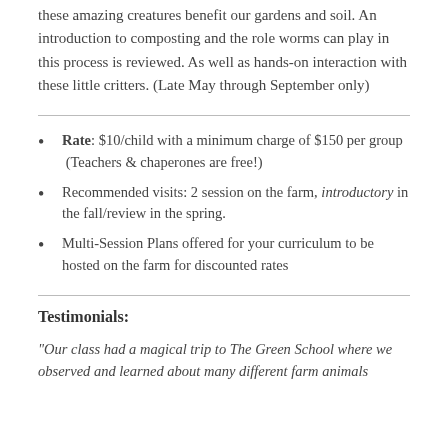these amazing creatures benefit our gardens and soil. An introduction to composting and the role worms can play in this process is reviewed. As well as hands-on interaction with these little critters. (Late May through September only)
Rate: $10/child with a minimum charge of $150 per group  (Teachers & chaperones are free!)
Recommended visits: 2 session on the farm, introductory in the fall/review in the spring.
Multi-Session Plans offered for your curriculum to be hosted on the farm for discounted rates
Testimonials:
"Our class had a magical trip to The Green School where we observed and learned about many different farm animals